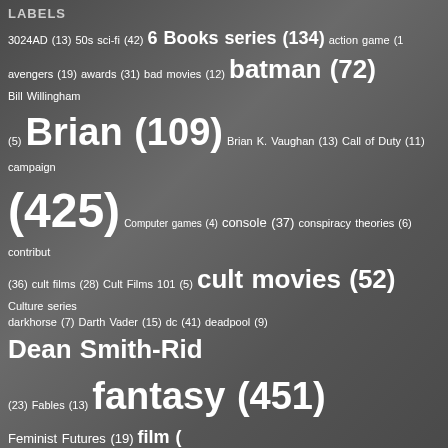LABELS
3024AD (13) 50s sci-fi (42) 6 Books series (134) action game (1) avengers (19) awards (31) bad movies (12) batman (72) Bill Willingham (5) Brian (109) Brian K. Vaughan (13) Call of Duty (11) campaign (425) Computer games (4) console (37) conspiracy theories (6) contributor (36) cult films (28) Cult Films 101 (5) cult movies (52) Culture series darkhorse (7) Darth Vader (15) dc (41) deadpool (9) Dean Smith-Richardson (23) Fables (13) fantasy (451) Feminist Futures (19) film ( giveaway (9) graphic novel (11) grimdark (28) grrm (11) guest post (15) Awards (128) Hugo Initiative (16) Hugo Reform (10) Hugos (17) Imag Scalzi (19) Katherine Kurtz (8) kickstarter (13) literary fiction (13) Lock (10) microreview (489) Mikey (387) Mind MGMT (2) Gaiman (13) neo-noir (12) Nerd Music (26) New Books Spotlight post-apocalyptic (52) publishing (13) pulp (9) Questing in Shorts ( fiction (377) SDCC (43) self-publishing (14) short fiction ( (174) steampunk (16) summer reading (46) superheroes (45) TableT Thursday Morning Superhero (358) tv (51) urb (27) Zhaoyun (90) zombies (15)